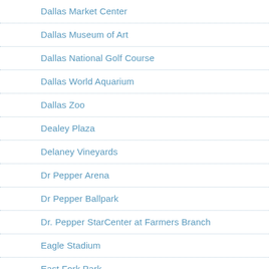Dallas Market Center
Dallas Museum of Art
Dallas National Golf Course
Dallas World Aquarium
Dallas Zoo
Dealey Plaza
Delaney Vineyards
Dr Pepper Arena
Dr Pepper Ballpark
Dr. Pepper StarCenter at Farmers Branch
Eagle Stadium
East Fork Park